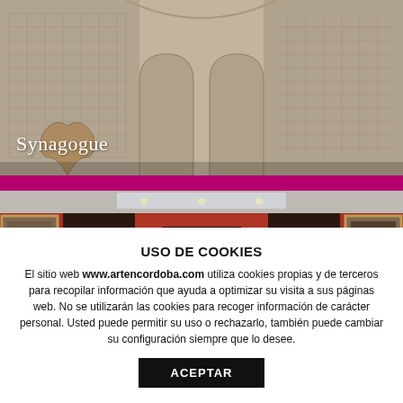[Figure (photo): Interior of the Córdoba Synagogue showing ornate Moorish plasterwork, arched niches with detailed geometric and floral carvings on white/beige walls. White label 'Synagogue' in lower left.]
[Figure (photo): Interior of an art museum gallery with red walls displaying large paintings in golden frames, dark arched doorways creating perspective depth, skylight ceiling.]
USO DE COOKIES
El sitio web www.artencordoba.com utiliza cookies propias y de terceros para recopilar información que ayuda a optimizar su visita a sus páginas web. No se utilizarán las cookies para recoger información de carácter personal. Usted puede permitir su uso o rechazarlo, también puede cambiar su configuración siempre que lo desee.
ACEPTAR